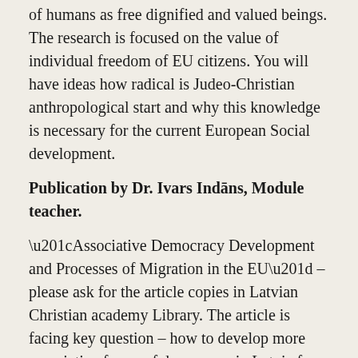of humans as free dignified and valued beings. The research is focused on the value of individual freedom of EU citizens. You will have ideas how radical is Judeo-Christian anthropological start and why this knowledge is necessary for the current European Social development.
Publication by Dr. Ivars Indāns, Module teacher.
“Associative Democracy Development and Processes of Migration in the EU” – please ask for the article copies in Latvian Christian academy Library. The article is facing key question – how to develop more associative forms of democracy in Latvia for balancing of the centralized State government and topical social problems, and needs of people, and how to overcome inner fragmentation of the social system? Solidarity cases will give certain attitudes to associative approach to the social process management in Latvia.
LEARNING TOOL “European Democratic Society: Associative Democracy and Civic Responsibility” published! Case study materials and analysis of European development of